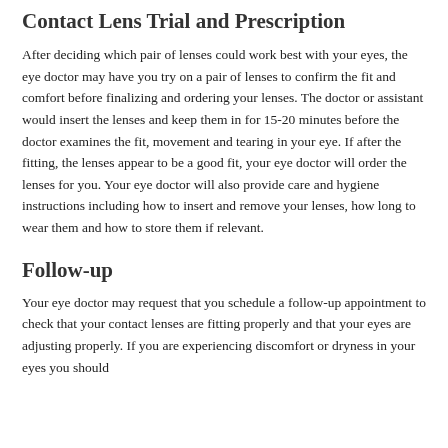Contact Lens Trial and Prescription
After deciding which pair of lenses could work best with your eyes, the eye doctor may have you try on a pair of lenses to confirm the fit and comfort before finalizing and ordering your lenses. The doctor or assistant would insert the lenses and keep them in for 15-20 minutes before the doctor examines the fit, movement and tearing in your eye. If after the fitting, the lenses appear to be a good fit, your eye doctor will order the lenses for you. Your eye doctor will also provide care and hygiene instructions including how to insert and remove your lenses, how long to wear them and how to store them if relevant.
Follow-up
Your eye doctor may request that you schedule a follow-up appointment to check that your contact lenses are fitting properly and that your eyes are adjusting properly. If you are experiencing discomfort or dryness in your eyes you should